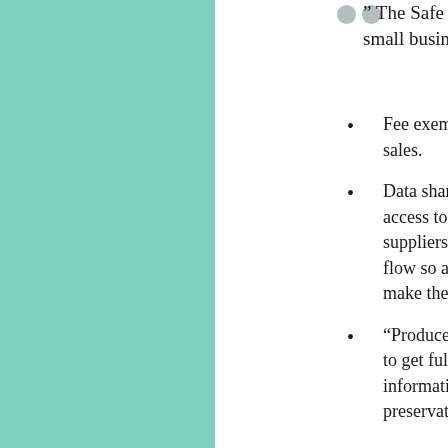" The Safe Cosmetics Act o... small businesses, including:
Fee exemptions for... sales.
Data sharing and tra... access to safety assessme... suppliers that are current... flow so all companies ha... make the best decisions a...
"Producer right-to-k... to get full information fre... information for cosmetic... preservatives."
Looks like a Pollyanna picture of goodness... fees IS the only burden that small business... small business is not exempted from havin... (sometimes trace ppm), as well as safety d... and established by the FDA (or published...